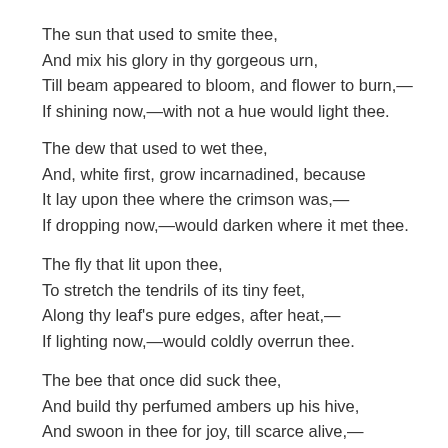The sun that used to smite thee,
And mix his glory in thy gorgeous urn,
Till beam appeared to bloom, and flower to burn,—
If shining now,—with not a hue would light thee.
The dew that used to wet thee,
And, white first, grow incarnadined, because
It lay upon thee where the crimson was,—
If dropping now,—would darken where it met thee.
The fly that lit upon thee,
To stretch the tendrils of its tiny feet,
Along thy leaf's pure edges, after heat,—
If lighting now,—would coldly overrun thee.
The bee that once did suck thee,
And build thy perfumed ambers up his hive,
And swoon in thee for joy, till scarce alive,—